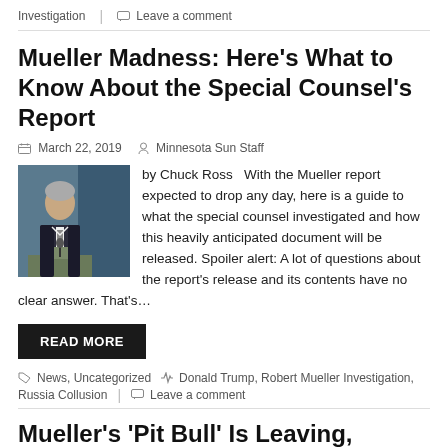Investigation  |  Leave a comment
Mueller Madness: Here’s What to Know About the Special Counsel’s Report
March 22, 2019   Minnesota Sun Staff
[Figure (photo): Headshot photo of Robert Mueller at a podium with an American flag in background]
by Chuck Ross   With the Mueller report expected to drop any day, here is a guide to what the special counsel investigated and how this heavily anticipated document will be released. Spoiler alert: A lot of questions about the report’s release and its contents have no clear answer. That’s…
READ MORE
News, Uncategorized   Donald Trump, Robert Mueller Investigation, Russia Collusion   |   Leave a comment
Mueller’s ‘Pit Bull’ Is Leaving, Signaling